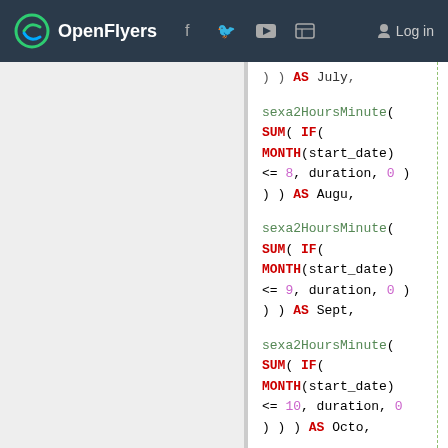OpenFlyers  Log in
[Figure (screenshot): Code snippet showing SQL-like query with sexa2HoursMinute function calls for months July, August, September, October, November]
) ) AS July,

sexa2HoursMinute(
SUM( IF(
MONTH(start_date)
<= 8, duration, 0 )
) ) AS Augu,

sexa2HoursMinute(
SUM( IF(
MONTH(start_date)
<= 9, duration, 0 )
) ) AS Sept,

sexa2HoursMinute(
SUM( IF(
MONTH(start_date)
<= 10, duration, 0
) ) ) AS Octo,

sexa2HoursMinute(
SUM( IF(
MONTH(start_date)
<= 11, duration, 0
) ) ) AS Nove,